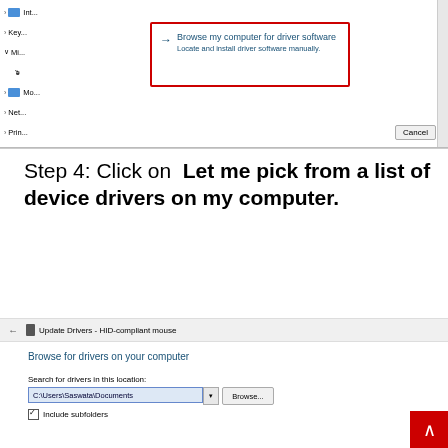[Figure (screenshot): Windows Device Manager dialog showing 'Browse my computer for driver software' option highlighted with a red border. Left panel shows device tree. Cancel button visible at bottom right. Scrollbar on right side.]
Step 4: Click on  Let me pick from a list of device drivers on my computer.
[Figure (screenshot): Windows Update Drivers dialog - 'Browse for drivers on your computer' screen. Shows back arrow, HID-compliant mouse title, search location field with C:\Users\Saswata\Documents path, Browse button, and Include subfolders checkbox.]